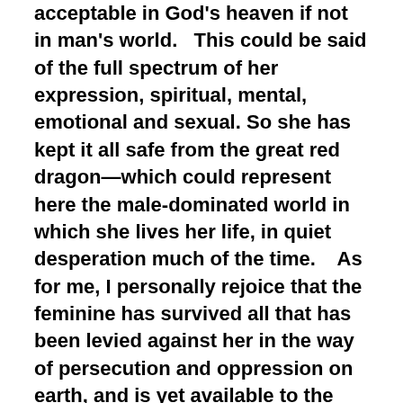acceptable in God's heaven if not in man's world.   This could be said of the full spectrum of her expression, spiritual, mental, emotional and sexual. So she has kept it all safe from the great red dragon—which could represent here the male-dominated world in which she lives her life, in quiet desperation much of the time.    As for me, I personally rejoice that the feminine has survived all that has been levied against her in the way of persecution and oppression on earth, and is yet available to the masculine that is beginning to understand her, for I love the feminine and all that she brings to the dance of life.
It is undeniably the feminine that has been responsible for holding something special over